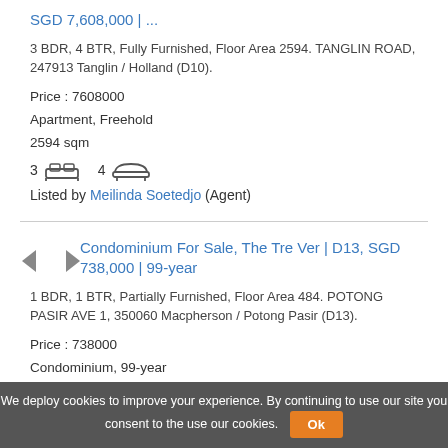SGD 7,608,000 | ...
3 BDR, 4 BTR, Fully Furnished, Floor Area 2594. TANGLIN ROAD, 247913 Tanglin / Holland (D10).
Price : 7608000
Apartment, Freehold
2594 sqm
3 [bed] 4 [bath]
Listed by Meilinda Soetedjo (Agent)
Condominium For Sale, The Tre Ver | D13, SGD 738,000 | 99-year
1 BDR, 1 BTR, Partially Furnished, Floor Area 484. POTONG PASIR AVE 1, 350060 Macpherson / Potong Pasir (D13).
Price : 738000
Condominium, 99-year
484 sqm
1 [bed] 1 [bath]
Listed by Lim Siew Cheng (Jane) (Agent)
We deploy cookies to improve your experience. By continuing to use our site you consent to the use our cookies. Ok